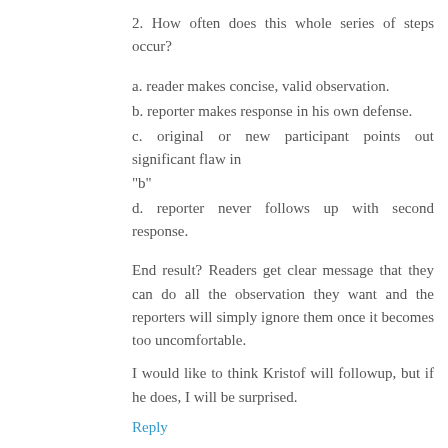2. How often does this whole series of steps occur?
a. reader makes concise, valid observation.
b. reporter makes response in his own defense.
c.  original or new participant points out significant flaw in "b"
d. reporter never follows up with second response.
End result? Readers get clear message that they can do all the observation they want and the reporters will simply ignore them once it becomes too uncomfortable.
I would like to think Kristof will followup, but if he does, I will be surprised.
Reply
Anonymous  July 13, 2010 at 2:16 PM
2. How often does this whole series of steps occur?
a. reader makes concise, valid observation.